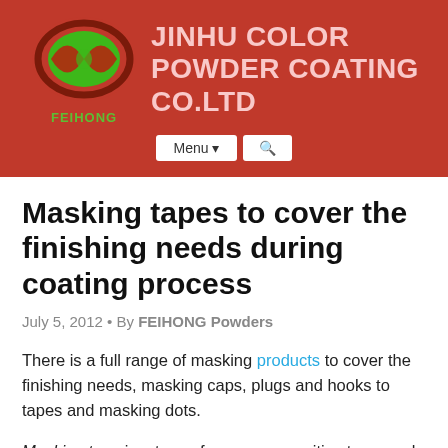[Figure (logo): Feihong green oval logo with company name JINHU COLOR POWDER COATING CO.LTD in pink/light red on red background]
Masking tapes to cover the finishing needs during coating process
July 5, 2012 • By FEIHONG Powders
There is a full range of masking products to cover the finishing needs, masking caps, plugs and hooks to tapes and masking dots.
Masking tape is a type of pressure sensitive tape made of a thin and easy-to-tear paper, and an easily released pressure sensitive adhesive. It is available in a variety of widths. It is used mainly in painting, to mask off areas that